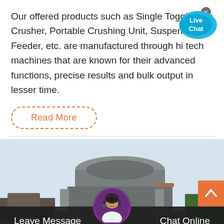Our offered products such as Single Toggle Jaw Crusher, Portable Crushing Unit, Suspension Feeder, etc. are manufactured through hi tech machines that are known for their advanced functions, precise results and bulk output in lesser time.
[Figure (other): Read More button with dashed orange border]
[Figure (illustration): Live Chat speech bubble widget with blue color and a small close (x) button]
[Figure (photo): Photo of a large industrial jaw crusher machine outdoors, with trucks and equipment visible in the background]
[Figure (other): Bottom chat bar with Leave Message and Chat Online options and customer support avatar]